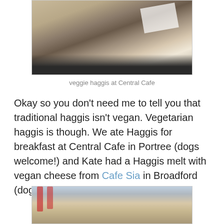[Figure (photo): Photo of veggie haggis sandwich/roll on a plate at Central Cafe, viewed from above, partially cut showing filling]
veggie haggis at Central Cafe
Okay so you don't need me to tell you that traditional haggis isn't vegan. Vegetarian haggis is though. We ate Haggis for breakfast at Central Cafe in Portree (dogs welcome!) and Kate had a Haggis melt with vegan cheese from Cafe Sia in Broadford (dogs outside only)
[Figure (photo): Photo of food at a cafe table with drinks in the background, partially visible at bottom of page]